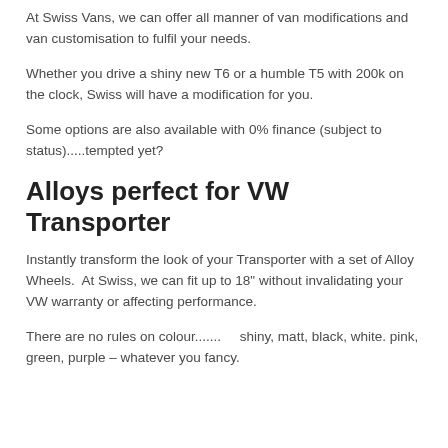At Swiss Vans, we can offer all manner of van modifications and van customisation to fulfil your needs.
Whether you drive a shiny new T6 or a humble T5 with 200k on the clock, Swiss will have a modification for you.
Some options are also available with 0% finance (subject to status).....tempted yet?
Alloys perfect for VW Transporter
Instantly transform the look of your Transporter with a set of Alloy Wheels.  At Swiss, we can fit up to 18" without invalidating your VW warranty or affecting performance.
There are no rules on colour.......    shiny, matt, black, white. pink, green, purple – whatever you fancy.